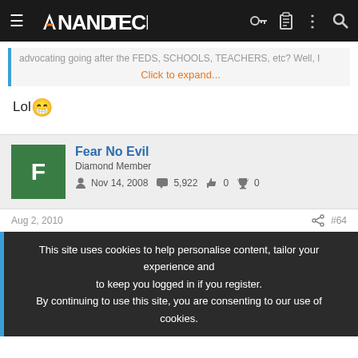AnandTech navigation bar
advocating going after the FEDS, SCHOOLS, TEACHERS, etc? Well, I
Click to expand...
Lol 😁
Fear No Evil
Diamond Member
Nov 14, 2008  5,922  0  0
Aug 2, 2010  #64
This site uses cookies to help personalise content, tailor your experience and to keep you logged in if you register.
By continuing to use this site, you are consenting to our use of cookies.